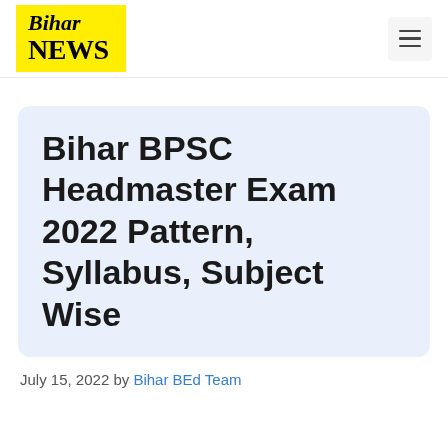Bihar NEWS
Bihar BPSC Headmaster Exam 2022 Pattern, Syllabus, Subject Wise
July 15, 2022 by Bihar BEd Team